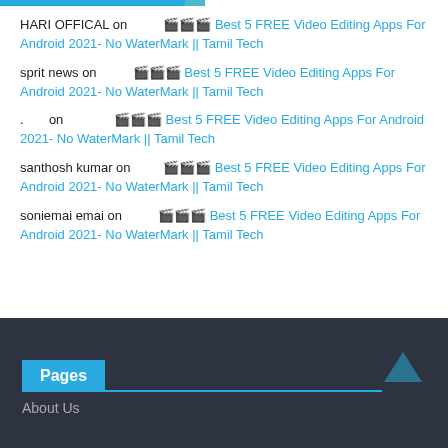HARI OFFICAL on  🎬🎬🎬 Best 5 FREE Video Editing Apps For Android 2021- No WaterMark || Tamil Tech
sprit news on  🎬🎬🎬 Best 5 FREE Video Editing Apps For Android 2021- No WaterMark || Tamil Tech
. on  🎬🎬🎬 Best 5 FREE Video Editing Apps For Android 2021- No WaterMark || Tamil Tech
santhosh kumar on  🎬🎬🎬 Best 5 FREE Video Editing Apps For Android 2021- No WaterMark || Tamil Tech
soniemai emai on  🎬🎬🎬 Best 5 FREE Video Editing Apps For Android 2021- No WaterMark || Tamil Tech
Pages
About Us